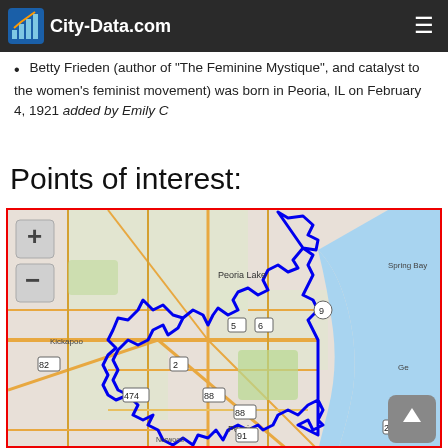City-Data.com
Betty Frieden (author of "The Feminine Mystique", and catalyst to the women's feminist movement) was born in Peoria, IL on February 4, 1921 added by Emily C
Points of interest:
[Figure (map): Interactive map of Peoria, IL area showing city boundaries outlined in blue, with surrounding areas including Kickapoo, Norwood, Spring Bay, Peoria Lake. Route markers visible: 82, 474, 2, 6, 88, 91, 24, 9. Map includes zoom controls (+/-) and scroll-to-top button.]